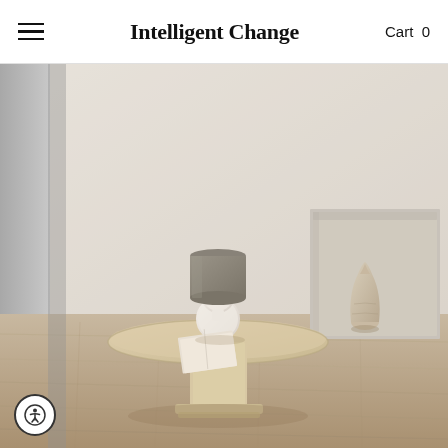Intelligent Change  Cart 0
[Figure (photo): Interior lifestyle photo showing a minimalist room with a round wooden coffee table on a stone/travertine floor. On the table sits a white ceramic double-sphere lamp base with a cylindrical grey lampshade, and an open book or magazine. To the right is a rectangular wall niche containing a rustic ceramic vase. The walls are textured light plaster. Neutral, warm tones throughout.]